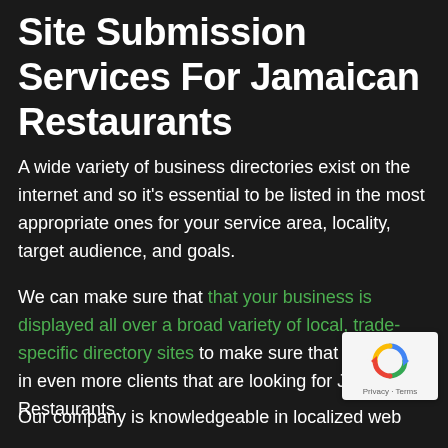Site Submission Services For Jamaican Restaurants
A wide variety of business directories exist on the internet and so it's essential to be listed in the most appropriate ones for your service area, locality, target audience, and goals.
We can make sure that that your business is displayed all over a broad variety of local, trade-specific directory sites to make sure that you draw in even more clients that are looking for Jamaican Restaurants.
[Figure (logo): reCAPTCHA badge with recycling-arrow icon and 'Privacy - Terms' label]
Our company is knowledgeable in localized web